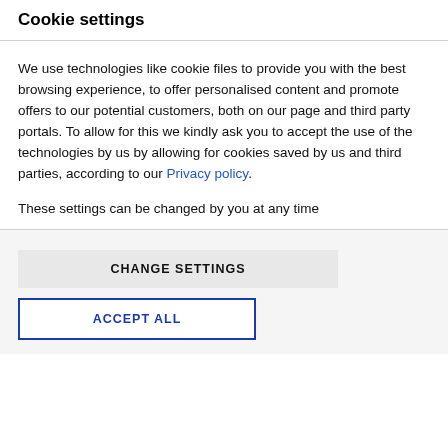Cookie settings
We use technologies like cookie files to provide you with the best browsing experience, to offer personalised content and promote offers to our potential customers, both on our page and third party portals. To allow for this we kindly ask you to accept the use of the technologies by us by allowing for cookies saved by us and third parties, according to our Privacy policy.
These settings can be changed by you at any time
CHANGE SETTINGS
ACCEPT ALL